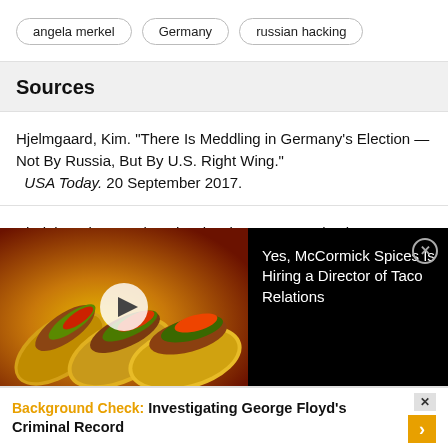angela merkel
Germany
russian hacking
Sources
Hjelmgaard, Kim. “There Is Meddling in Germany’s Election — Not By Russia, But By U.S. Right Wing.” USA Today. 20 September 2017.
Shalal, Andrea, and Auchard, Eric. “German Election Campaign Largely Unaffected by Fake News or Bots.” Reuters. 22 September 2017.
[Figure (screenshot): Video advertisement showing tacos with play button overlay and text: Yes, McCormick Spices Is Hiring a Director of Taco Relations]
Background Check: Investigating George Floyd’s Criminal Record